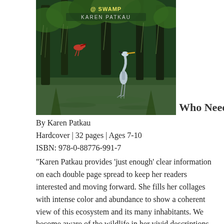[Figure (illustration): Book cover of 'Who Needs a Swamp?' by Karen Patkau, showing a swamp scene with trees, green foliage, and a heron]
Who Needs a Swamp?
By Karen Patkau
Hardcover | 32 pages | Ages 7-10
ISBN: 978-0-88776-991-7
"Karen Patkau provides 'just enough' clear information on each double page spread to keep her readers interested and moving forward. She fills her collages with intense color and abundance to show a coherent view of this ecosystem and its many inhabitants. We become aware of the wildlife in her vivid descriptions of the sounds and sights in the swamp and through her carefully constructed artwork. The constantly changing page designs encourage her audience to search carefully through the text for clues to what is happening in the art, and the art is filled with details that have the child's eyes